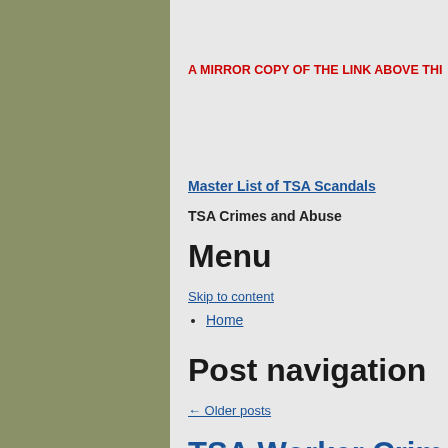A MIRROR COPY OF THE LINK ABOVE THI
Master List of TSA Scandals
TSA Crimes and Abuse
Menu
Skip to content
Home
Post navigation
← Older posts
TSA Worker Crimes